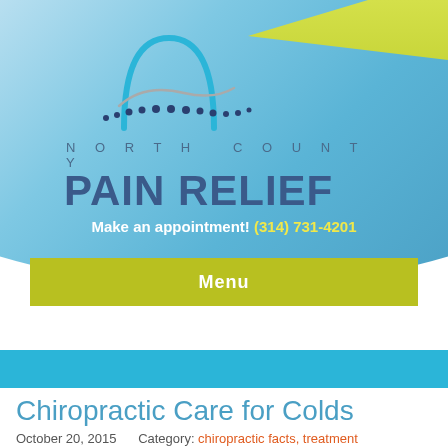[Figure (logo): North County Pain Relief logo with arch/gateway icon, dotted spine curve, text 'NORTH COUNTY PAIN RELIEF' on blue gradient background]
Make an appointment! (314) 731-4201
Menu
Chiropractic Care for Colds
October 20, 2015     Category: chiropractic facts, treatment